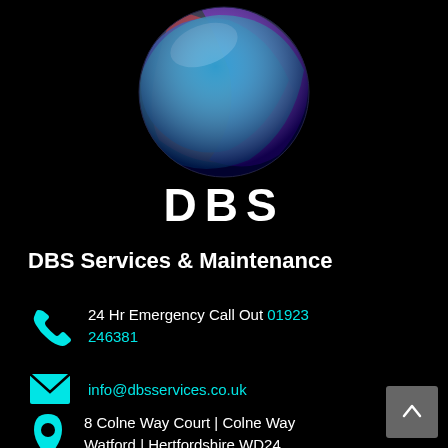[Figure (logo): DBS company logo: a glossy sphere with swirling red, blue, cyan, and purple ribbon shapes on a black background]
DBS
DBS Services & Maintenance
24 Hr Emergency Call Out 01923 246381
info@dbsservices.co.uk
8 Colne Way Court | Colne Way Watford | Hertfordshire WD24 7NE